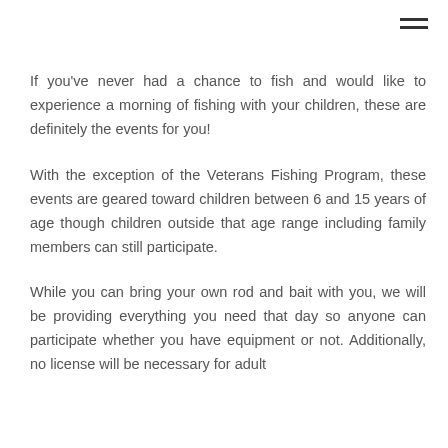[Figure (other): Hamburger menu icon (three horizontal lines) in top-right corner]
If you've never had a chance to fish and would like to experience a morning of fishing with your children, these are definitely the events for you!
With the exception of the Veterans Fishing Program, these events are geared toward children between 6 and 15 years of age though children outside that age range including family members can still participate.
While you can bring your own rod and bait with you, we will be providing everything you need that day so anyone can participate whether you have equipment or not. Additionally, no license will be necessary for adult